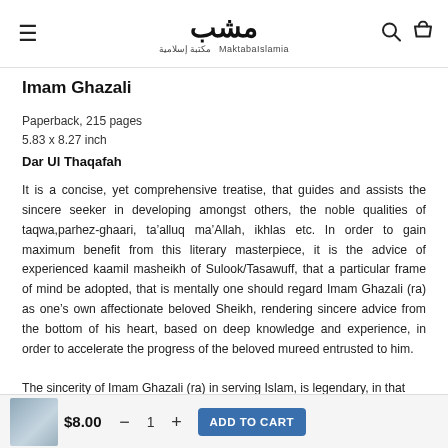MaktabaIslamia logo header
Imam Ghazali
Paperback, 215 pages
5.83 x 8.27 inch
Dar Ul Thaqafah
It is a concise, yet comprehensive treatise, that guides and assists the sincere seeker in developing amongst others, the noble qualities of taqwa,parhez-ghaari, ta’alluq ma’Allah, ikhlas etc. In order to gain maximum benefit from this literary masterpiece, it is the advice of experienced kaamil masheikh of Sulook/Tasawuff, that a particular frame of mind be adopted, that is mentally one should regard Imam Ghazali (ra) as one’s own affectionate beloved Sheikh, rendering sincere advice from the bottom of his heart, based on deep knowledge and experience, in order to accelerate the progress of the beloved mureed entrusted to him.

The sincerity of Imam Ghazali (ra) in serving Islam, is legendary, in that
$8.00  1  ADD TO CART